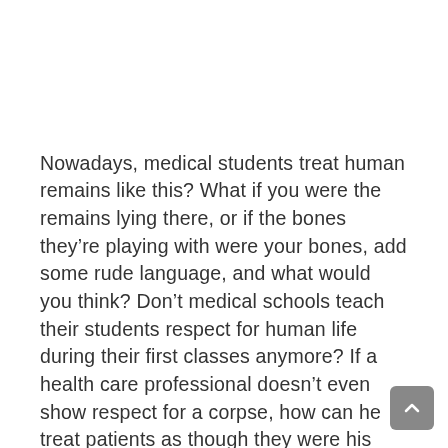Nowadays, medical students treat human remains like this? What if you were the remains lying there, or if the bones they're playing with were your bones, add some rude language, and what would you think? Don't medical schools teach their students respect for human life during their first classes anymore? If a health care professional doesn't even show respect for a corpse, how can he treat patients as though they were his family? Wouldn't that be trifling with patients' treatments as though it were playing